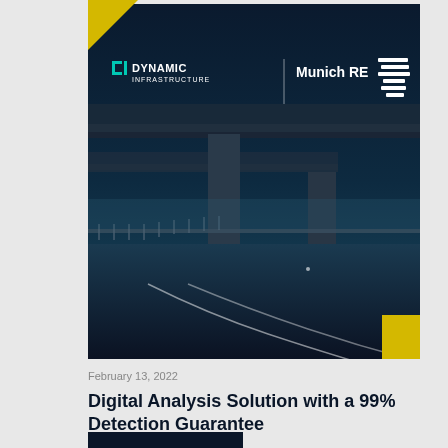[Figure (photo): Cover image showing a highway overpass/bridge from below with a dark navy overlay. Dynamic Infrastructure and Munich RE logos are visible in the upper portion of the image. Yellow accent corners are visible at top-left and bottom-right of the image frame.]
February 13, 2022
Digital Analysis Solution with a 99% Detection Guarantee